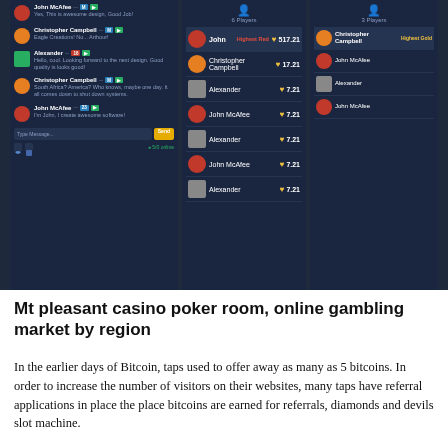[Figure (screenshot): Dark-themed online gambling/casino UI screenshot showing a chat panel on the left with messages from users (John McAfee, Christopher Campbell, Alexander), a middle leaderboard panel showing 6 Players with scores (John 517.21, Christopher Campbell 17.21, Alexander 7.21, John McAfee 7.21, Alexander 7.21, John McAfee 7.21, Alexander 7.21), and a right panel showing top gold players (Christopher Campbell - Highest Gold, John McAfee, Alexander, John McAfee). Chat input box with Send button visible at bottom left.]
Mt pleasant casino poker room, online gambling market by region
In the earlier days of Bitcoin, taps used to offer away as many as 5 bitcoins. In order to increase the number of visitors on their websites, many taps have referral applications in place the place bitcoins are earned for referrals, diamonds and devils slot machine.